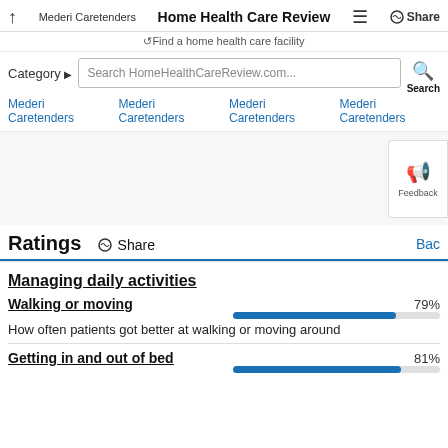Mederi Caretenders  Home Health Care Review  ≡  Share
⟳Find a home health care facility
Category ▶  Search HomeHealthCareReview.com...  Search
Mederi Caretenders  Mederi Caretenders  Mederi Caretenders  Mederi Caretenders
Ratings  Share  Back
Managing daily activities
Walking or moving  79%
How often patients got better at walking or moving around
Getting in and out of bed  81%